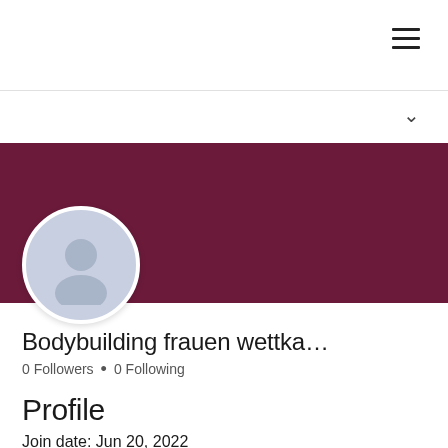[Figure (screenshot): Navigation bar with hamburger menu icon on the right]
[Figure (screenshot): Dropdown bar with chevron/down arrow on the right]
[Figure (screenshot): Dark maroon/purple profile banner with Message and Follow buttons and avatar placeholder]
Bodybuilding frauen wettka…
0 Followers • 0 Following
Profile
Join date: Jun 20, 2022